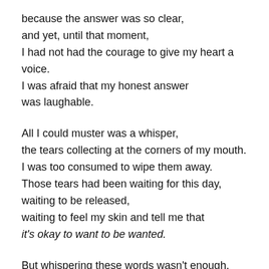because the answer was so clear,
and yet, until that moment,
I had not had the courage to give my heart a voice.
I was afraid that my honest answer
was laughable.
All I could muster was a whisper,
the tears collecting at the corners of my mouth.
I was too consumed to wipe them away.
Those tears had been waiting for this day,
waiting to be released,
waiting to feel my skin and tell me that
it's okay to want to be wanted.
But whispering these words wasn't enough.
I felt them pushing against the backs of my teeth,
trying to rush forth into the open air and declare to the